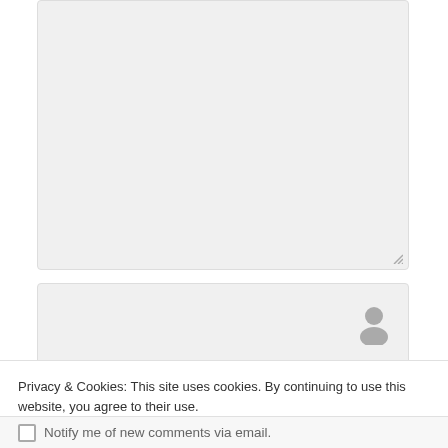[Figure (screenshot): Partially visible textarea form field with grey background and resize handle in bottom right corner]
[Figure (screenshot): Name input field with grey background and person/user icon on the right]
[Figure (screenshot): Email input field with grey background and envelope icon on the right]
[Figure (screenshot): Website input field with grey background and house/home icon on the right, partially visible]
Privacy & Cookies: This site uses cookies. By continuing to use this website, you agree to their use.
To find out more, including how to control cookies, see here: Cookie Policy
Close and accept
Notify me of new comments via email.